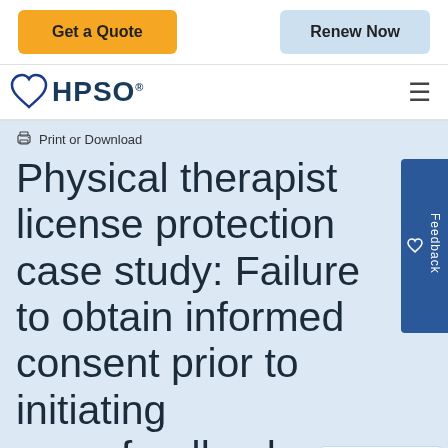Get a Quote | Renew Now
[Figure (logo): HPSO logo with blue heart icon and hamburger menu]
Print or Download
Physical therapist license protection case study: Failure to obtain informed consent prior to initiating neurofeedback